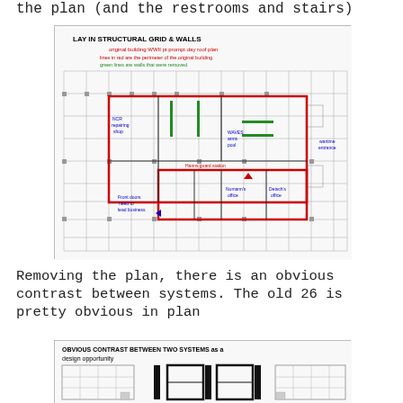the plan (and the restrooms and stairs)
[Figure (engineering-diagram): Architectural floor plan titled 'LAY IN STRUCTURAL GRID & WALLS' showing original building layout with roof plan overlay. Red lines mark the perimeter of the original building, green lines indicate walls that were removed. Rooms labeled include: NCR repairing shop, WAVES arms pool, Hanns guard station, Numann's office, Detsch's office, wartime entrance. Notes indicate front doors need to lead business.]
Removing the plan, there is an obvious contrast between systems. The old 26 is pretty obvious in plan
[Figure (engineering-diagram): Architectural diagram titled 'OBVIOUS CONTRAST BETWEEN TWO SYSTEMS as a design opportunity' showing structural grid contrast with thick black columns/walls against lighter grid in plan view.]